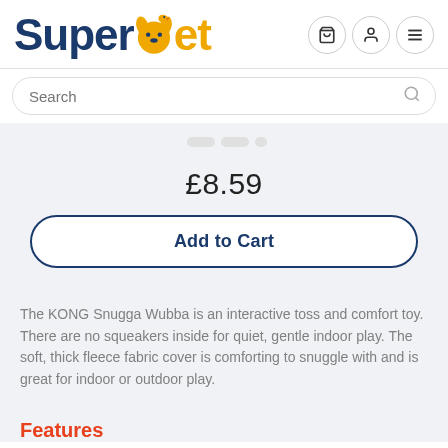[Figure (logo): SuperPet logo with blue 'Super' text and gold 'pet' text with dog/bird icon]
Search
£8.59
Add to Cart
The KONG Snugga Wubba is an interactive toss and comfort toy. There are no squeakers inside for quiet, gentle indoor play. The soft, thick fleece fabric cover is comforting to snuggle with and is great for indoor or outdoor play.
Features